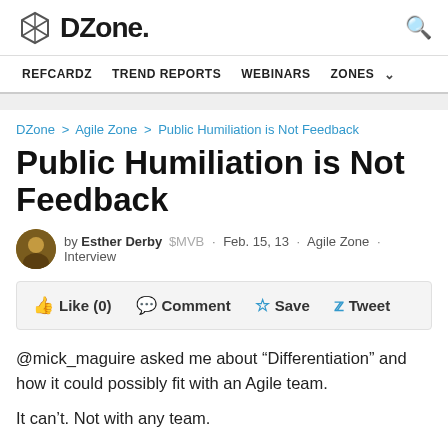DZone.
REFCARDZ  TREND REPORTS  WEBINARS  ZONES
DZone > Agile Zone > Public Humiliation is Not Feedback
Public Humiliation is Not Feedback
by Esther Derby  MVB  · Feb. 15, 13 · Agile Zone · Interview
Like (0)   Comment   Save   Tweet
@mick_maguire asked me about “Differentiation” and how it could possibly fit with an Agile team.
It can’t. Not with any team.